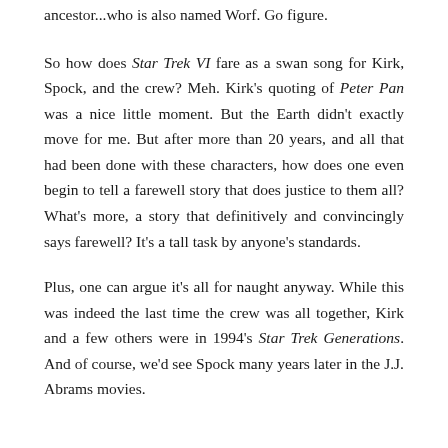ancestor...who is also named Worf. Go figure.
So how does Star Trek VI fare as a swan song for Kirk, Spock, and the crew? Meh. Kirk's quoting of Peter Pan was a nice little moment. But the Earth didn't exactly move for me. But after more than 20 years, and all that had been done with these characters, how does one even begin to tell a farewell story that does justice to them all? What's more, a story that definitively and convincingly says farewell? It's a tall task by anyone's standards.
Plus, one can argue it's all for naught anyway. While this was indeed the last time the crew was all together, Kirk and a few others were in 1994's Star Trek Generations. And of course, we'd see Spock many years later in the J.J. Abrams movies.